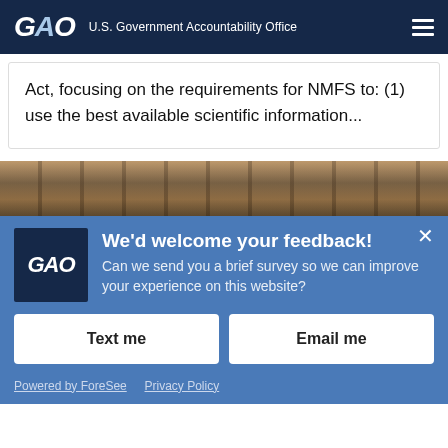GAO | U.S. Government Accountability Office
Act, focusing on the requirements for NMFS to: (1) use the best available scientific information...
[Figure (photo): Exterior architectural photo of a building with vertical columns/windows visible as a diagonal strip]
We'd welcome your feedback!
Can we send you a brief survey so we can improve your experience on this website?
Text me
Email me
Powered by ForeSee   Privacy Policy